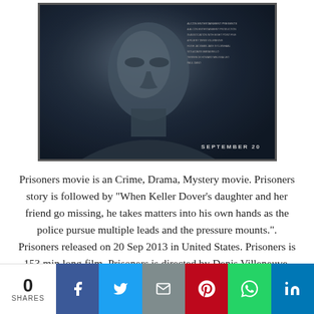[Figure (photo): Movie poster for 'Prisoners' showing a close-up of a man's face in dark, moody lighting with text 'SEPTEMBER 20' at the bottom right.]
Prisoners movie is an Crime, Drama, Mystery movie. Prisoners story is followed by "When Keller Dover's daughter and her friend go missing, he takes matters into his own hands as the police pursue multiple leads and the pressure mounts.". Prisoners released on 20 Sep 2013 in United States. Prisoners is 153 min long film. Prisoners is directed by Denis Villeneuve. Prisoners is written by Aaron Guzikowski. Hugh Jackman, Jake Gyllenhaal, Viola Davis played the lead
0 SHARES  [Facebook] [Twitter] [Email] [Pinterest] [WhatsApp] [LinkedIn]